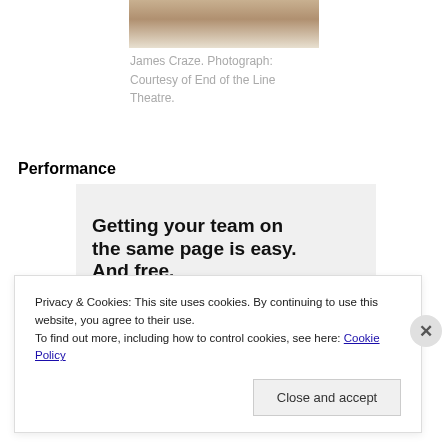[Figure (photo): Partial photo of James Craze, showing clothing (white top), cropped at top of page]
James Craze. Photograph: Courtesy of End of the Line Theatre.
Performance
[Figure (screenshot): Advertisement banner: 'Getting your team on the same page is easy. And free.' with circular avatar photos below]
Privacy & Cookies: This site uses cookies. By continuing to use this website, you agree to their use.
To find out more, including how to control cookies, see here: Cookie Policy
Close and accept